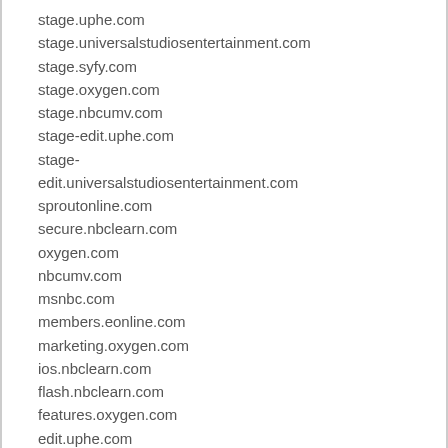stage.uphe.com
stage.universalstudiosentertainment.com
stage.syfy.com
stage.oxygen.com
stage.nbcumv.com
stage-edit.uphe.com
stage-edit.universalstudiosentertainment.com
sproutonline.com
secure.nbclearn.com
oxygen.com
nbcumv.com
msnbc.com
members.eonline.com
marketing.oxygen.com
ios.nbclearn.com
flash.nbclearn.com
features.oxygen.com
edit.uphe.com
edit.universalstudiosentertainment.com
edit.telemundo.com
banners.universalpictures.ca